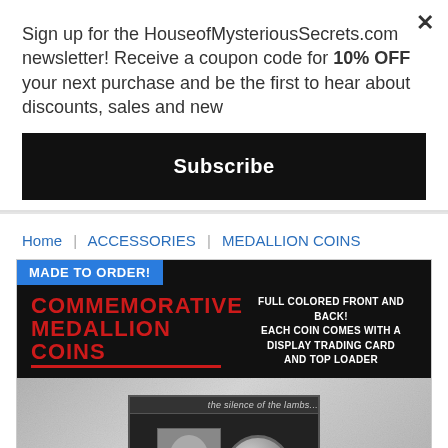Sign up for the HouseofMysteriousSecrets.com newsletter! Receive a coupon code for 10% OFF your next purchase and be the first to hear about discounts, sales and new
Subscribe
Home | ACCESSORIES | MEDALLION COINS
MADE TO ORDER!
[Figure (photo): Product image showing Commemorative Medallion Coins banner with red text on black background, and a The Silence of the Lambs themed coin card showing character faces]